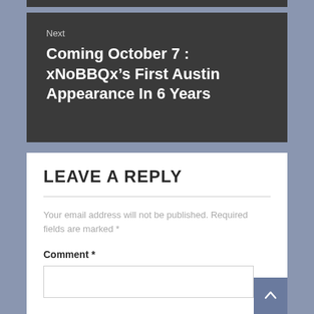Next
Coming October 7 : xNoBBQx’s First Austin Appearance In 6 Years
LEAVE A REPLY
Your email address will not be published. Required fields are marked *
Comment *